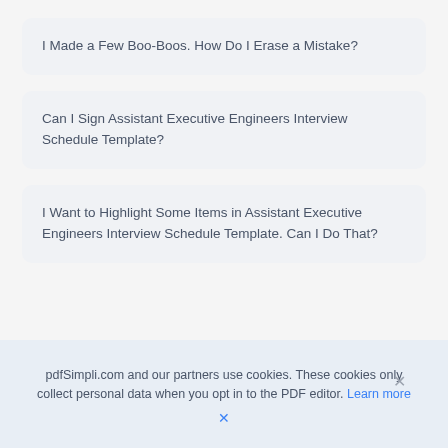I Made a Few Boo-Boos. How Do I Erase a Mistake?
Can I Sign Assistant Executive Engineers Interview Schedule Template?
I Want to Highlight Some Items in Assistant Executive Engineers Interview Schedule Template. Can I Do That?
pdfSimpli.com and our partners use cookies. These cookies only collect personal data when you opt in to the PDF editor. Learn more ×
×